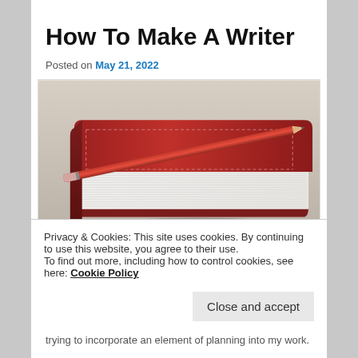How To Make A Writer
Posted on May 21, 2022
[Figure (photo): A red leather notebook with a red pencil resting on top of it, shot at close range on a light background.]
Privacy & Cookies: This site uses cookies. By continuing to use this website, you agree to their use.
To find out more, including how to control cookies, see here: Cookie Policy
trying to incorporate an element of planning into my work.